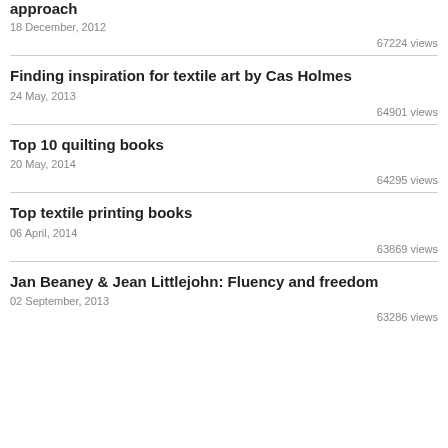approach
18 December, 2012
67224 views
Finding inspiration for textile art by Cas Holmes
24 May, 2013
64901 views
Top 10 quilting books
20 May, 2014
64295 views
Top textile printing books
06 April, 2014
63869 views
Jan Beaney & Jean Littlejohn: Fluency and freedom
02 September, 2013
63286 views